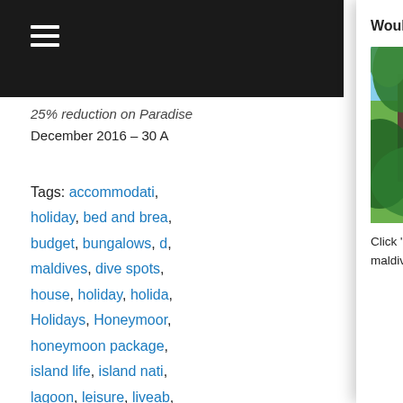December 2016 – 30 A
Tags: accommodation, holiday, bed and breakfast, budget, bungalows, dive spots, maldives, house, holiday, holidays, Holidays, Honeymoon, honeymoon package, island life, island nation, lagoon, leisure, liveaboard, villas, Maldív-szigetek, islands, maldives, accommodation, maldives holiday, maldives honeymoon, Maldives Hotels, maldives island, maldives luxury, maldives package, maldives photos, maldives resorts, Maldivian, Maldivoj, Malediivit, Malediven,
Would you like to book a holiday?
[Figure (photo): Tropical pathway through lush palm trees and green foliage leading to a beach]
Click "yes" if you wish to request a holiday quotation from the maldives.com team :)